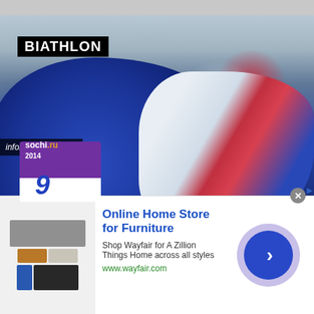[Figure (photo): Biathlon athlete in blue suit bent over at Sochi 2014 Winter Olympics, wearing bib number 9 with Sochi.ru branding, photographed from behind/side. The word BIATHLON appears in bold white text on black background in the upper left corner. An infolinks watermark appears at the bottom left of the photo.]
[Figure (advertisement): Wayfair online furniture store advertisement banner at the bottom of the page. Shows furniture/appliance images on left, text 'Online Home Store for Furniture', 'Shop Wayfair for A Zillion Things Home across all styles', 'www.wayfair.com', and a blue circle with right arrow on the right.]